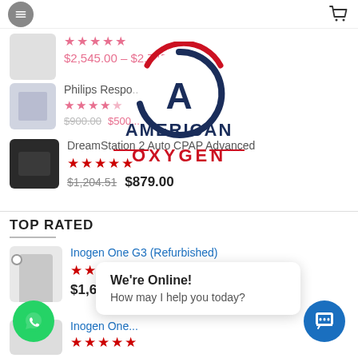American Oxygen - e-commerce website header with logo overlay
[Figure (logo): American Oxygen logo: circle with letter A, navy and red, text AMERICAN OXYGEN below]
$2,545.00 – $2,745.00
Philips Respo... Flo 5L
DreamStation 2 Auto CPAP Advanced
$1,204.51  $879.00
TOP RATED
Inogen One G3 (Refurbished)
$1,600.00
Inogen One...
We're Online!
How may I help you today?